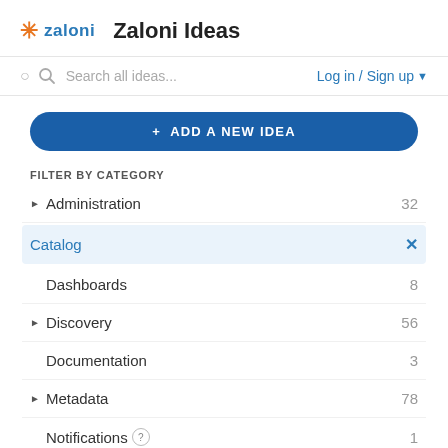zaloni  Zaloni Ideas
Search all ideas...   Log in / Sign up
+ ADD A NEW IDEA
FILTER BY CATEGORY
Administration  32
Catalog  ×
Dashboards  8
Discovery  56
Documentation  3
Metadata  78
Notifications  1